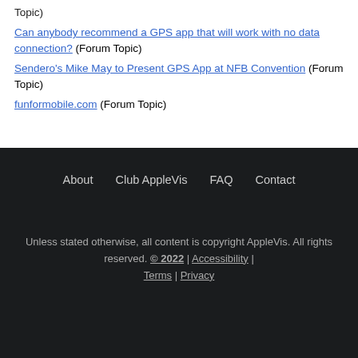Topic)
Can anybody recommend a GPS app that will work with no data connection? (Forum Topic)
Sendero's Mike May to Present GPS App at NFB Convention (Forum Topic)
funformobile.com (Forum Topic)
About | Club AppleVis | FAQ | Contact
Unless stated otherwise, all content is copyright AppleVis. All rights reserved. © 2022 | Accessibility | Terms | Privacy